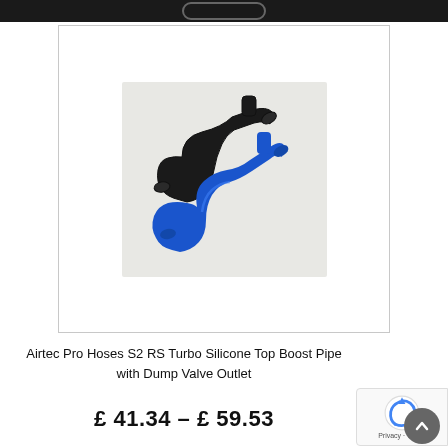[Figure (photo): Two silicone turbo boost hoses — one black and one blue — photographed on a white/grey surface. The hoses are curved with a Y/T-branch dump valve outlet.]
Airtec Pro Hoses S2 RS Turbo Silicone Top Boost Pipe with Dump Valve Outlet
£ 41.34 – £ 59.53